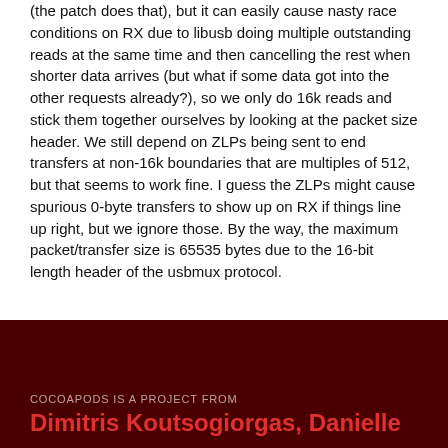(the patch does that), but it can easily cause nasty race conditions on RX due to libusb doing multiple outstanding reads at the same time and then cancelling the rest when shorter data arrives (but what if some data got into the other requests already?), so we only do 16k reads and stick them together ourselves by looking at the packet size header. We still depend on ZLPs being sent to end transfers at non-16k boundaries that are multiples of 512, but that seems to work fine. I guess the ZLPs might cause spurious 0-byte transfers to show up on RX if things line up right, but we ignore those. By the way, the maximum packet/transfer size is 65535 bytes due to the 16-bit length header of the usbmux protocol.
COCOAPODS IS A PROJECT FROM
Dimitris Koutsogiorgas, Danielle